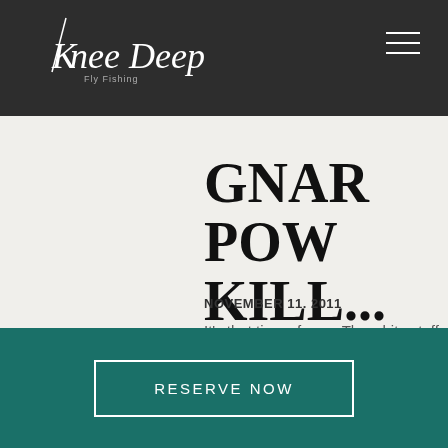Knee Deep Fly Fishing
GNAR POW KILL...
NOVEMBER 11. 2011
It's that time of year. The white stuff is starting to make its
RESERVE NOW